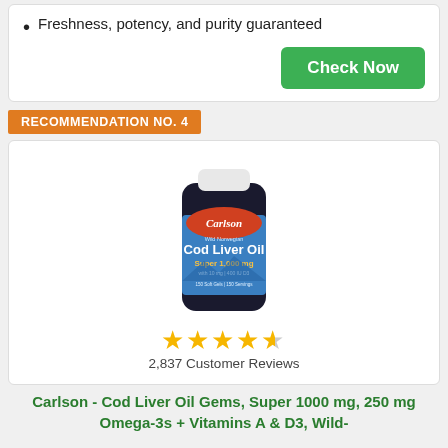Freshness, potency, and purity guaranteed
Check Now
RECOMMENDATION NO. 4
[Figure (photo): Carlson Cod Liver Oil Gems supplement bottle, dark glass with blue label showing 'Cod Liver Oil Super 1,000 mg']
2,837 Customer Reviews
Carlson - Cod Liver Oil Gems, Super 1000 mg, 250 mg Omega-3s + Vitamins A & D3, Wild-